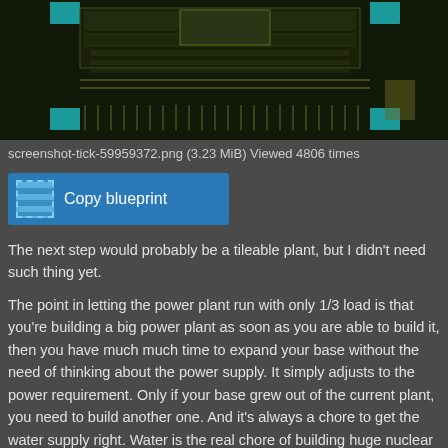[Figure (screenshot): Screenshot of a Factorio nuclear power plant blueprint, showing a dark circuit-board-like layout with green and teal components on a dark background, labeled screenshot-tick-59959372.png]
screenshot-tick-59959372.png (3.23 MiB) Viewed 4806 times
[Figure (screenshot): Copy blueprint button with blueprint icon]
The next step would probably be a tileable plant, but I didn't need such thing yet.
The point in letting the power plant run with only 1/3 load is that you're building a big power plant as soon as you are able to build it, then you have much much time to expand your base without the need of thinking about the power supply. It simply adjusts to the power requirement. Only if your base grew out of the current plant, you need to build another one. And it's always a chore to get the water supply right. Water is the real chore of building huge nuclear power